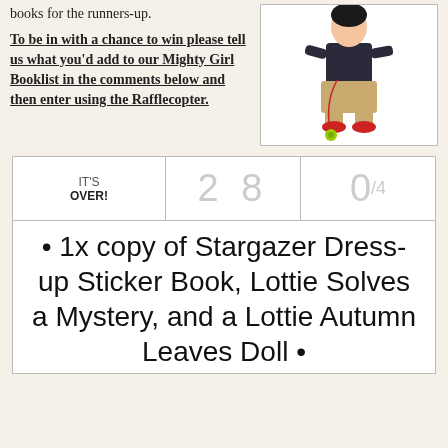books for the runners-up.
To be in with a chance to win please tell us what you'd add to our Mighty Girl Booklist in the comments below and then enter using the Rafflecopter.
[Figure (illustration): A Lottie doll figure with khaki shorts and red shoes, holding a yo-yo with a string]
| IT'S OVER! | 2 8 | 0/4 |
| --- | --- | --- |
1x copy of Stargazer Dress-up Sticker Book, Lottie Solves a Mystery, and a Lottie Autumn Leaves Doll •